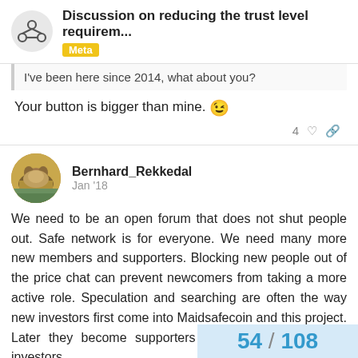Discussion on reducing the trust level requirem... | Meta
I've been here since 2014, what about you?
Your button is bigger than mine. 😉
Bernhard_Rekkedal  Jan '18
We need to be an open forum that does not shut people out. Safe network is for everyone. We need many more new members and supporters. Blocking new people out of the price chat can prevent newcomers from taking a more active role. Speculation and searching are often the way new investors first come into Maidsafecoin and this project. Later they become supporters and marketers to other investors.
54 / 108